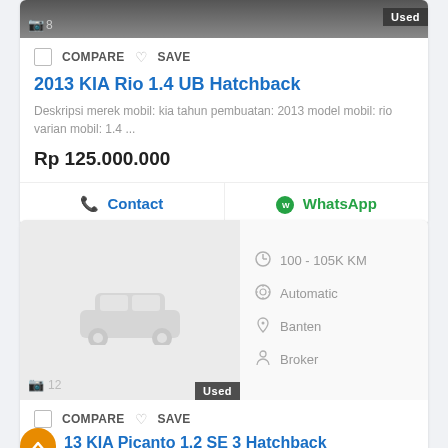[Figure (screenshot): Top portion of a used car listing card showing a partial dark image with Used badge and camera icon]
COMPARE SAVE
2013 KIA Rio 1.4 UB Hatchback
Deskripsi merek mobil: kia tahun pembuatan: 2013 model mobil: rio varian mobil: 1.4 ...
Rp 125.000.000
Contact   WhatsApp
[Figure (screenshot): Second car listing card showing a gray placeholder car image with specs: 100-105K KM, Automatic, Banten, Broker, Used badge, camera icon showing 12 photos]
COMPARE SAVE
2013 KIA Picanto 1.2 SE 3 Hatchback